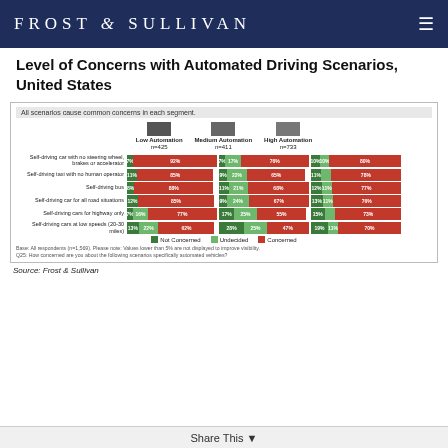FROST & SULLIVAN
Level of Concerns with Automated Driving Scenarios, United States
[Figure (stacked-bar-chart): Stacked horizontal bar chart showing level of concern (Not Concerned, Undecided, Concerned) for 6 automated driving scenarios across 3 automation segments.]
Base: All respondents (n=1,569). Please note: Values lower than 5% are not displayed to improve visibility. Q25: How concerned are you about the following scenarios specifically automated vehicles?
Source: Frost & Sullivan
Share This